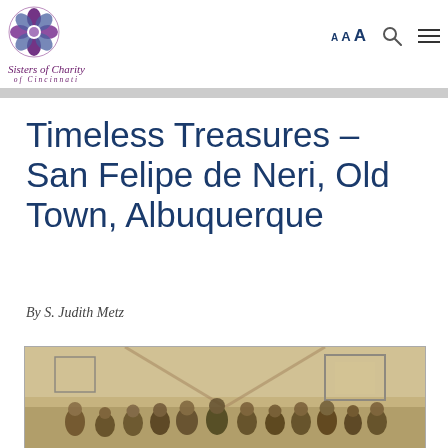Sisters of Charity of Cincinnati — navigation header with logo, font size controls, search icon, and menu icon
Timeless Treasures – San Felipe de Neri, Old Town, Albuquerque
By S. Judith Metz
[Figure (photo): Sepia-toned historical photograph showing a group of people, likely students and a teacher, posed inside what appears to be a classroom or church hall in Old Town Albuquerque.]